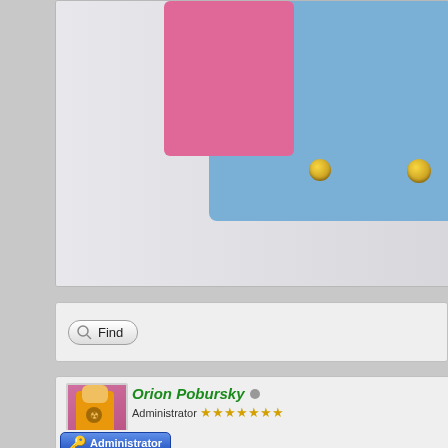[Figure (screenshot): Top panel showing a partial view of LEGO-style 3D objects in blue and pink against a gray background]
[Figure (other): Find/search button with magnifying glass icon]
[Figure (photo): Profile avatar showing a LEGO minifigure in orange hazmat suit with radiation symbol]
Orion Pobursky
Administrator ★★★★★★★
[Figure (infographic): Role badge: Administrator]
[Figure (infographic): Role badge: App Developer]
[Figure (infographic): Role badge: JJMA Rec...]
[Figure (infographic): Role badge: Steering Committee]